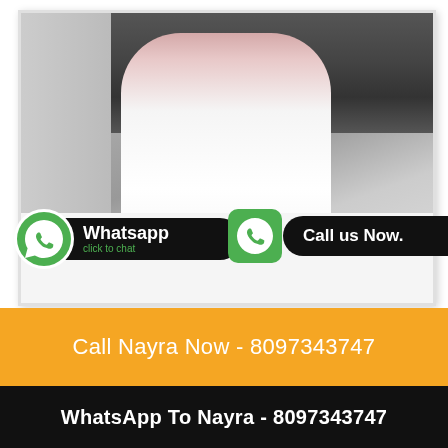[Figure (photo): Young woman in white dress sitting on a white bed, with a tufted headboard in the background. WhatsApp and Call us Now buttons overlaid on the image.]
Call Nayra Now - 8097343747
WhatsApp To Nayra - 8097343747